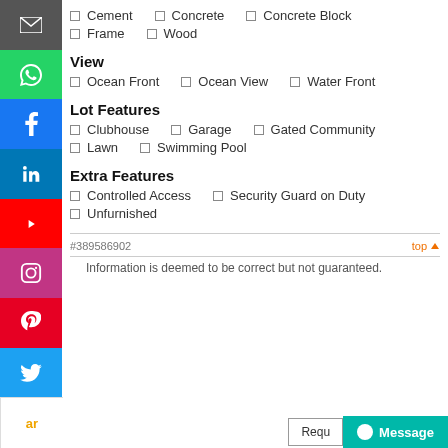Cement · Concrete · Concrete Block
Frame · Wood
View
Ocean Front · Ocean View · Water Front
Lot Features
Clubhouse · Garage · Gated Community
Lawn · Swimming Pool
Extra Features
Controlled Access · Security Guard on Duty
Unfurnished
#389586902   top
Information is deemed to be correct but not guaranteed.